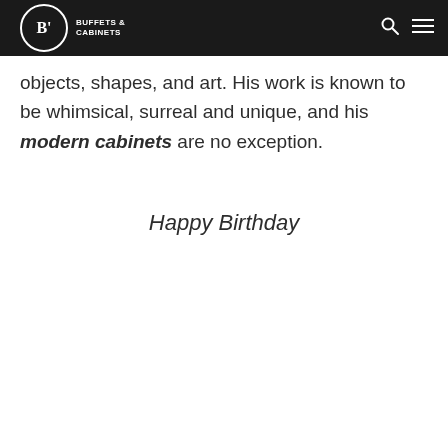BUFFETS & CABINETS
objects, shapes, and art. His work is known to be whimsical, surreal and unique, and his modern cabinets are no exception.
Happy Birthday